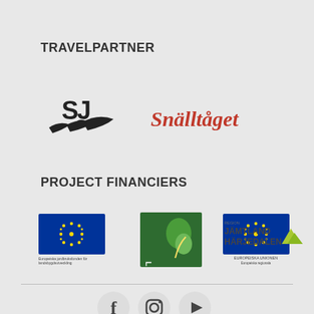TRAVELPARTNER
[Figure (logo): SJ logo - stylized bird/wing shape in black with 'SJ' letters]
[Figure (logo): Snälltåget logo in red serif italic text]
PROJECT FINANCIERS
[Figure (logo): European Union flag logo with stars on blue background, with Swedish text below]
[Figure (logo): LEADER logo - green square with leaf/plant design]
[Figure (logo): European Union Europeiska Unionen logo with blue flag and stars, with text below]
[Figure (logo): Region Jämtland Härjedalen logo with mountain graphic]
[Figure (logo): Facebook icon circle]
[Figure (logo): Instagram icon circle]
[Figure (logo): YouTube icon circle]